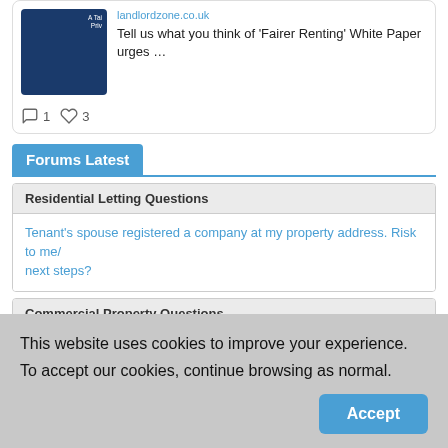[Figure (screenshot): Partial social media post card showing a landlordzone.co.uk article thumbnail (dark blue book cover) with text 'Tell us what you think of ‘Fairer Renting’ White Paper urges …' and action icons showing 1 comment and 3 likes]
Forums Latest
Residential Letting Questions
Tenant’s spouse registered a company at my property address. Risk to me/next steps?
Commercial Property Questions
Limited company renting out garages
This website uses cookies to improve your experience.
To accept our cookies, continue browsing as normal.